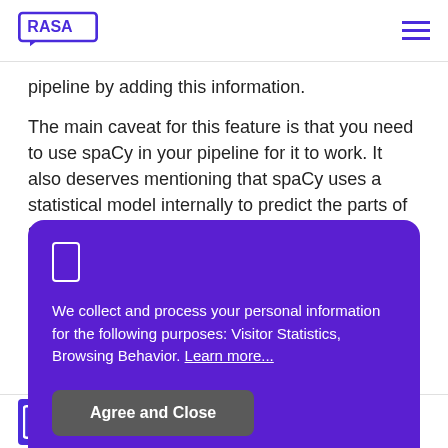RASA
pipeline by adding this information.
The main caveat for this feature is that you need to use spaCy in your pipeline for it to work. It also deserves mentioning that spaCy uses a statistical model internally to predict the parts of speech, and
We collect and process your personal information for the following purposes: Visitor Statistics, Browsing Behavior. Learn more...
Agree and Close
Developer Portal